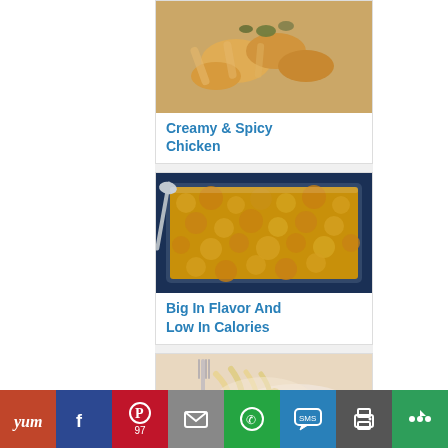[Figure (photo): Creamy and spicy chicken dish with vegetables]
Creamy & Spicy Chicken
[Figure (photo): Casserole dish big in flavor and low in calories with golden breadcrumb topping]
Big In Flavor And Low In Calories
[Figure (photo): Creamy noodle or pasta dish being lifted with a fork]
Yum | f | P 97 | mail | WhatsApp | SMS | print | more